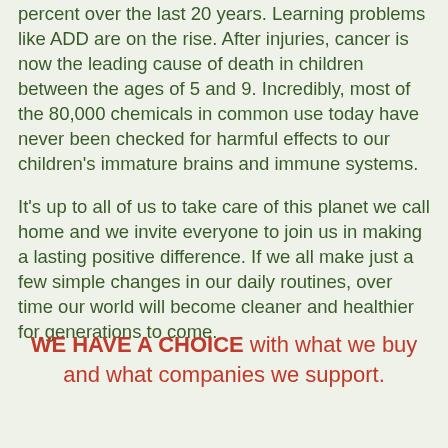percent over the last 20 years. Learning problems like ADD are on the rise. After injuries, cancer is now the leading cause of death in children between the ages of 5 and 9. Incredibly, most of the 80,000 chemicals in common use today have never been checked for harmful effects to our children's immature brains and immune systems.
It's up to all of us to take care of this planet we call home and we invite everyone to join us in making a lasting positive difference. If we all make just a few simple changes in our daily routines, over time our world will become cleaner and healthier for generations to come.
WE HAVE A CHOICE with what we buy and what companies we support.